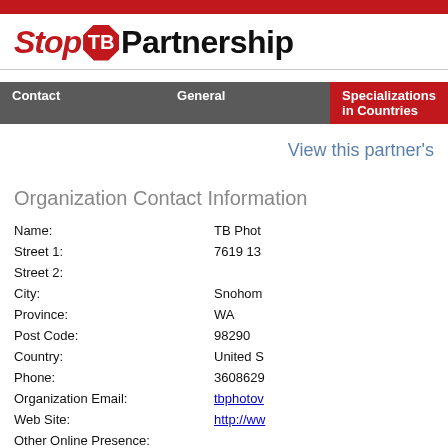[Figure (logo): Stop TB Partnership logo with red octagon TB badge]
| Contact | General | Specializations in Countries |
| --- | --- | --- |
View this partner's
Organization Contact Information
Name: TB Phot
Street 1: 7619 13
Street 2:
City: Snohom
Province: WA
Post Code: 98290
Country: United S
Phone: 3608629
Organization Email: tbphotov
Web Site: http://ww
Other Online Presence: